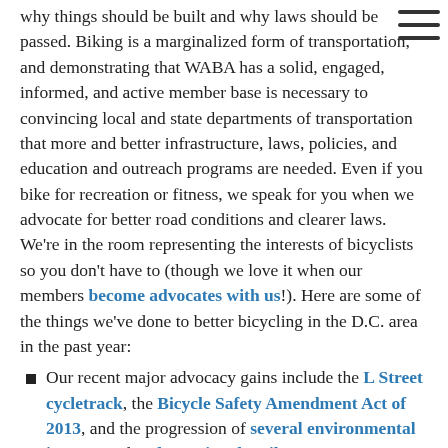why things should be built and why laws should be passed. Biking is a marginalized form of transportation, and demonstrating that WABA has a solid, engaged, informed, and active member base is necessary to convincing local and state departments of transportation that more and better infrastructure, laws, policies, and education and outreach programs are needed. Even if you bike for recreation or fitness, we speak for you when we advocate for better road conditions and clearer laws. We're in the room representing the interests of bicyclists so you don't have to (though we love it when our members become advocates with us!). Here are some of the things we've done to better bicycling in the D.C. area in the past year:
Our recent major advocacy gains include the L Street cycletrack, the Bicycle Safety Amendment Act of 2013, and the progression of several environmental impact studies for regional trails.
We help get more people on bikes through programs like Women & Bicycles, Trail Rangers, Bike Ambassadors, the East of the River